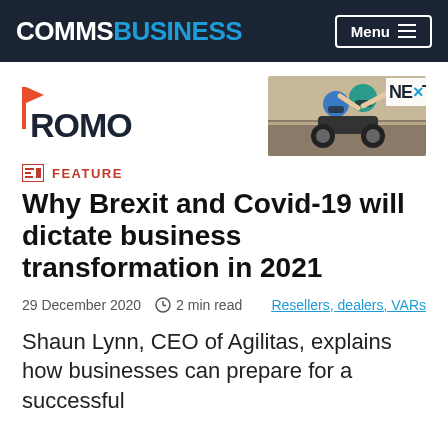COMMSBUSINESS  Menu
[Figure (logo): ROMO logo with orange flag icon]
[Figure (photo): NE×T advertisement banner showing two children on a motorcycle wearing helmets]
FEATURE
Why Brexit and Covid-19 will dictate business transformation in 2021
29 December 2020  ⊙ 2 min read  Resellers, dealers, VARs
Shaun Lynn, CEO of Agilitas, explains how businesses can prepare for a successful